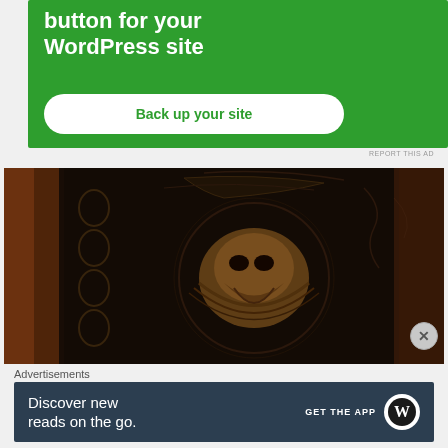[Figure (screenshot): Green advertisement banner for WordPress backup plugin with 'button for your WordPress site' text and 'Back up your site' button]
REPORT THIS AD
[Figure (photo): Close-up photo of an ornate dark carved door knocker or relief showing a winged creature/skull on an intricate decorative metal surface with rust and dark patina]
Advertisements
[Figure (screenshot): Dark blue advertisement banner reading 'Discover new reads on the go.' with 'GET THE APP' button and WordPress logo]